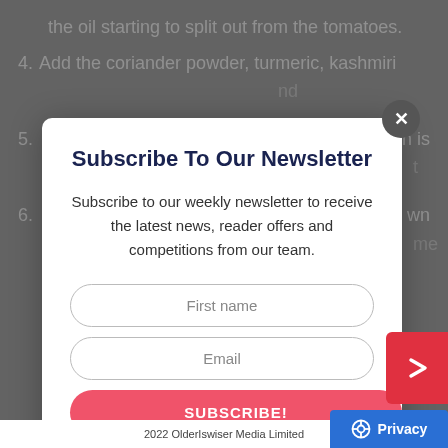the oil starting to split out from the tomatoes.
4. Add the coriander powder, turmeric, kashmiri … nd
5. … n is … t
6. … wn … me
Subscribe To Our Newsletter
Subscribe to our weekly newsletter to receive the latest news, reader offers and competitions from our team.
First name
Email
SUBSCRIBE!
2022 OlderIswiser Media Limited